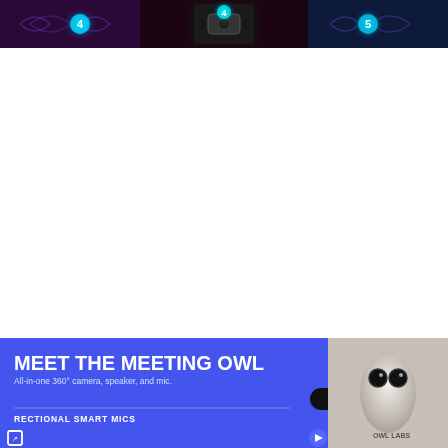[Figure (screenshot): Rock Band 4 game screenshot showing guitar highway with glowing cyan circular nodes on a dark purple/blue background with swirling patterns]
Rock Band 4 is a game that is best played by
[Figure (infographic): Advertisement banner for 'Meet the Meeting Owl' - All-in-one 360° camera, speaker, and mic with Shop Now button and image of the Owl Labs device. Blue background with text 'RECTIONAL SMART MICS' and OWL LABS branding.]